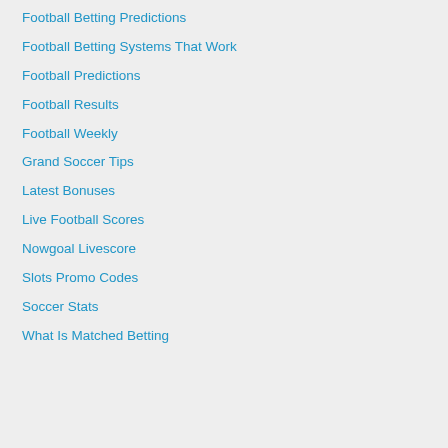Football Betting Predictions
Football Betting Systems That Work
Football Predictions
Football Results
Football Weekly
Grand Soccer Tips
Latest Bonuses
Live Football Scores
Nowgoal Livescore
Slots Promo Codes
Soccer Stats
What Is Matched Betting